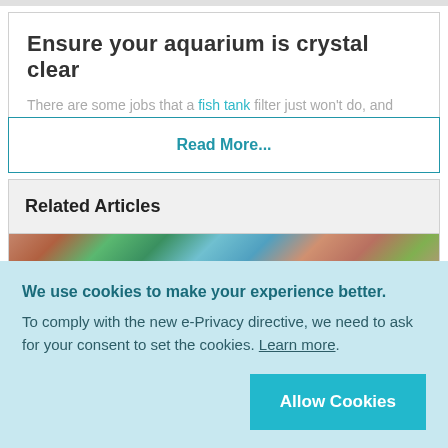Ensure your aquarium is crystal clear
There are some jobs that a fish tank filter just won't do, and
Read More...
Related Articles
[Figure (photo): Colorful aquarium with corals and rocks in orange, green, and blue tones]
We use cookies to make your experience better. To comply with the new e-Privacy directive, we need to ask for your consent to set the cookies. Learn more.